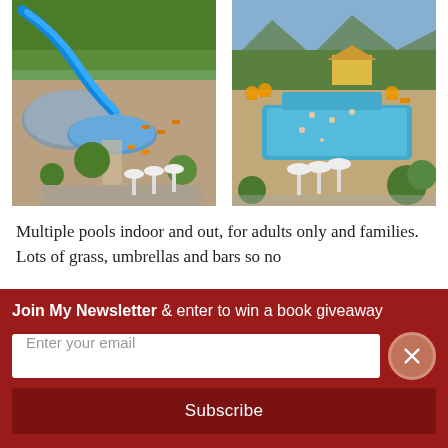[Figure (photo): Aerial view of an outdoor water park with a blue water slide, multiple pools, lounge chairs with orange umbrellas, trees, and a large dome structure]
[Figure (photo): Aerial view of an outdoor water park complex with multiple pools, green trees in the background, lounge areas with orange umbrellas, and visitors visible]
Multiple pools indoor and out, for adults only and families. Lots of grass, umbrellas and bars so no
Join My Newsletter & enter to win a book giveaway
Enter your email
Subscribe